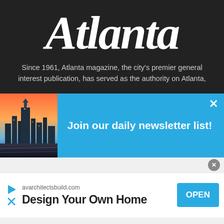Atlanta
Since 1961, Atlanta magazine, the city's premier general interest publication, has served as the authority on Atlanta,
[Figure (screenshot): Newsletter signup banner with blue background, Atlanta city skyline photo on left, and 'Join our daily newsletter list!' text in white bold on blue background with a close X button]
[Figure (infographic): Mobile advertisement for avarchitectsbuild.com: 'Design Your Own Home' with a play icon, close X icon, and blue OPEN button on the right]
avarchitectsbuild.com
Design Your Own Home